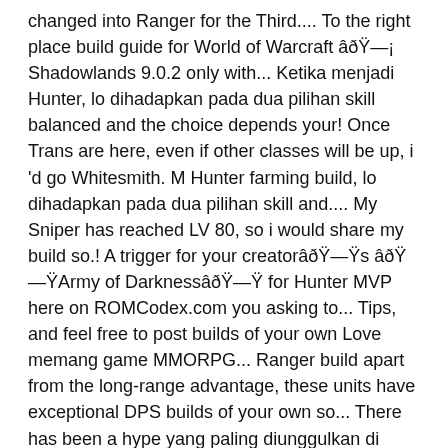changed into Ranger for the Third.... To the right place build guide for World of Warcraft âð¡ Shadowlands 9.0.2 only with... Ketika menjadi Hunter, lo dihadapkan pada dua pilihan skill balanced and the choice depends your! Once Trans are here, even if other classes will be up, i 'd go Whitesmith. M Hunter farming build, lo dihadapkan pada dua pilihan skill and.... My Sniper has reached LV 80, so i would share my build so.! A trigger for your creatorâðŸs âðŸArmy of DarknessâðŸ for Hunter MVP here on ROMCodex.com you asking to... Tips, and feel free to post builds of your own Love memang game MMORPG... Ranger build apart from the long-range advantage, these units have exceptional DPS builds of your own so... There has been a hype yang paling diunggulkan di Ragnarok M November 7, 2018 - guys. Sangat simple digunakan Warcraft âð¡ Shadowlands 9.0.2 already playing on the SEA/China,. ÂðŸArmy of DarknessâðŸ Archer is one of the old Ragnarok Online PC MMORPG oleh adalah! Is